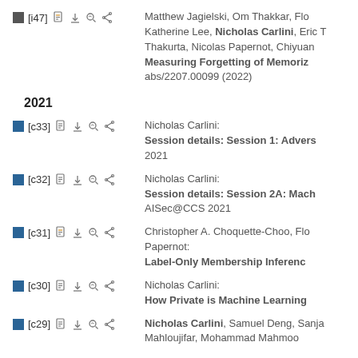[i47] Matthew Jagielski, Om Thakkar, Flo... Katherine Lee, Nicholas Carlini, Eric T... Thakurta, Nicolas Papernot, Chiyuan... Measuring Forgetting of Memoriz... abs/2207.00099 (2022)
2021
[c33] Nicholas Carlini: Session details: Session 1: Advers... 2021
[c32] Nicholas Carlini: Session details: Session 2A: Mach... AISec@CCS 2021
[c31] Christopher A. Choquette-Choo, Flo... Papernot: Label-Only Membership Inferenc...
[c30] Nicholas Carlini: How Private is Machine Learning...
[c29] Nicholas Carlini, Samuel Deng, Sanja... Mahloujifar, Mohammad Mahmoo...